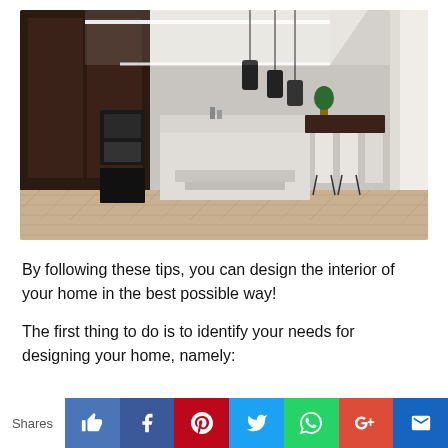[Figure (photo): Modern kitchen interior render showing dark wood cabinetry, white island with shelving, pendant lights, bar stools, and herringbone wood floor]
By following these tips, you can design the interior of your home in the best possible way!
The first thing to do is to identify your needs for designing your home, namely:
Shares [Like] [Facebook] [Pinterest] [Twitter] [WhatsApp] [Google+] [Email]